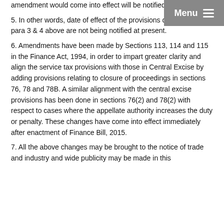amendment would come into effect will be notified in due course.
5. In other words, date of effect of the provisions discussed in para 3 & 4 above are not being notified at present.
6. Amendments have been made by Sections 113, 114 and 115 in the Finance Act, 1994, in order to impart greater clarity and align the service tax provisions with those in Central Excise by adding provisions relating to closure of proceedings in sections 76, 78 and 78B. A similar alignment with the central excise provisions has been done in sections 76(2) and 78(2) with respect to cases where the appellate authority increases the duty or penalty. These changes have come into effect immediately after enactment of Finance Bill, 2015.
7. All the above changes may be brought to the notice of trade and industry and wide publicity may be made in this